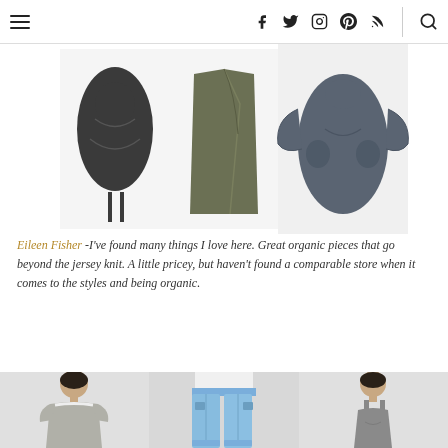Navigation bar with hamburger menu, social icons (Facebook, Twitter, Instagram, Pinterest, RSS), and search icon
[Figure (photo): Three clothing items displayed against white background: a dark charcoal draped skirt/dress on left, an olive/khaki wrap skirt in center, and a dark blue-grey draped dress on right]
Eileen Fisher -I've found many things I love here. Great organic pieces that go beyond the jersey knit. A little pricey, but haven't found a comparable store when it comes to the styles and being organic.
[Figure (photo): Three Eileen Fisher clothing items: woman in grey marled t-shirt with white trim and black pants on left, light blue relaxed jeans with black sandals in center, grey sleeveless shift dress with sandals on right]